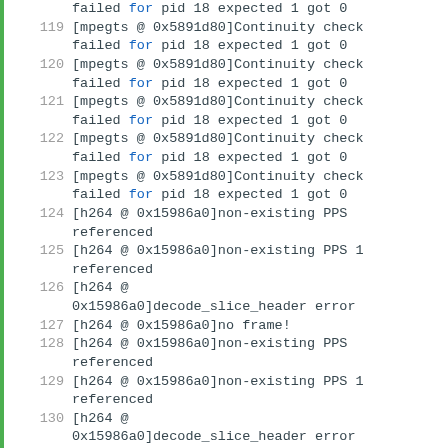failed for pid 18 expected 1 got 0
119 [mpegts @ 0x5891d80]Continuity check failed for pid 18 expected 1 got 0
120 [mpegts @ 0x5891d80]Continuity check failed for pid 18 expected 1 got 0
121 [mpegts @ 0x5891d80]Continuity check failed for pid 18 expected 1 got 0
122 [mpegts @ 0x5891d80]Continuity check failed for pid 18 expected 1 got 0
123 [mpegts @ 0x5891d80]Continuity check failed for pid 18 expected 1 got 0
124 [h264 @ 0x15986a0]non-existing PPS referenced
125 [h264 @ 0x15986a0]non-existing PPS 1 referenced
126 [h264 @ 0x15986a0]decode_slice_header error
127 [h264 @ 0x15986a0]no frame!
128 [h264 @ 0x15986a0]non-existing PPS referenced
129 [h264 @ 0x15986a0]non-existing PPS 1 referenced
130 [h264 @ 0x15986a0]decode_slice_header error
131 [h264 @ 0x15986a0]no frame!
132 [h264 @ 0x15986a0]non-existing PPS referenced
133 [h264 @ 0x15986a0]non-existing PPS 1 referenced